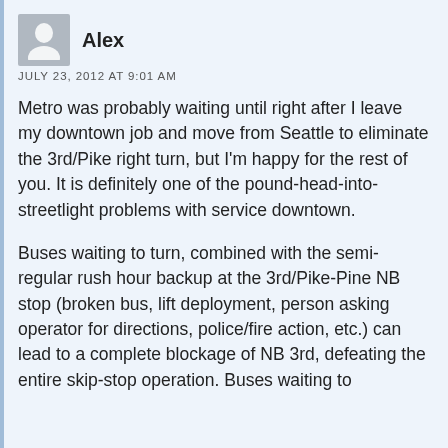Alex
JULY 23, 2012 AT 9:01 AM
Metro was probably waiting until right after I leave my downtown job and move from Seattle to eliminate the 3rd/Pike right turn, but I'm happy for the rest of you. It is definitely one of the pound-head-into-streetlight problems with service downtown.
Buses waiting to turn, combined with the semi-regular rush hour backup at the 3rd/Pike-Pine NB stop (broken bus, lift deployment, person asking operator for directions, police/fire action, etc.) can lead to a complete blockage of NB 3rd, defeating the entire skip-stop operation. Buses waiting to